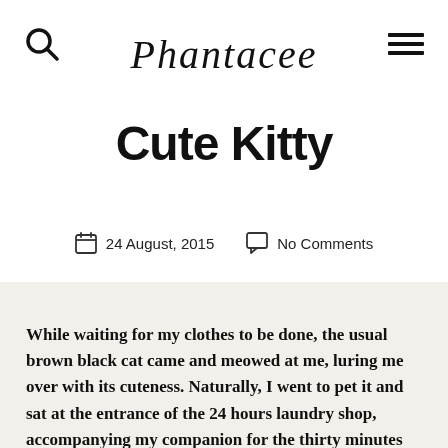Phantacee
Cute Kitty
24 August, 2015   No Comments
While waiting for my clothes to be done, the usual brown black cat came and meowed at me, luring me over with its cuteness. Naturally, I went to pet it and sat at the entrance of the 24 hours laundry shop, accompanying my companion for the thirty minutes plus of waiting. Just as I was about to pour some water out for it, a girl